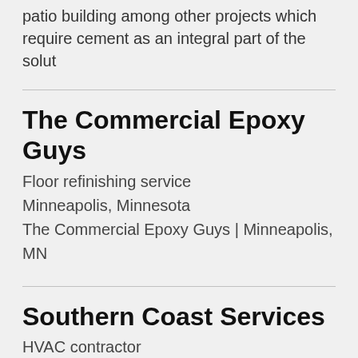patio building among other projects which require cement as an integral part of the solut
The Commercial Epoxy Guys
Floor refinishing service
Minneapolis, Minnesota
The Commercial Epoxy Guys | Minneapolis, MN
Southern Coast Services
HVAC contractor
Fountain, COLORADO
family and veteran owned electrical